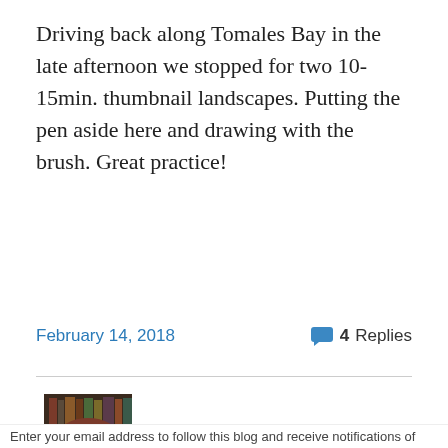Driving back along Tomales Bay in the late afternoon we stopped for two 10-15min. thumbnail landscapes. Putting the pen aside here and drawing with the brush. Great practice!
February 14, 2018   4 Replies
[Figure (photo): Headshot of a woman with dark reddish-brown hair, wearing glasses, with bookshelves in the background.]
Privacy & Cookies: This site uses cookies. By continuing to use this website, you agree to their use.
To find out more, including how to control cookies, see here: Cookie Policy
Close and accept
Enter your email address to follow this blog and receive notifications of